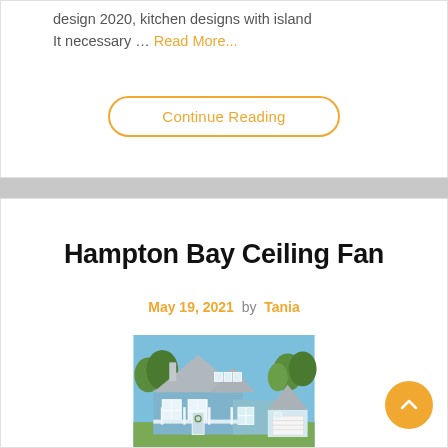design 2020, kitchen designs with island It necessary … Read More...
Continue Reading
Hampton Bay Ceiling Fan
May 19, 2021 by Tania
[Figure (photo): A light blue and white farmhouse-style home with metal roof, large windows, a covered front porch, and a garage, surrounded by trees under a clear blue sky.]